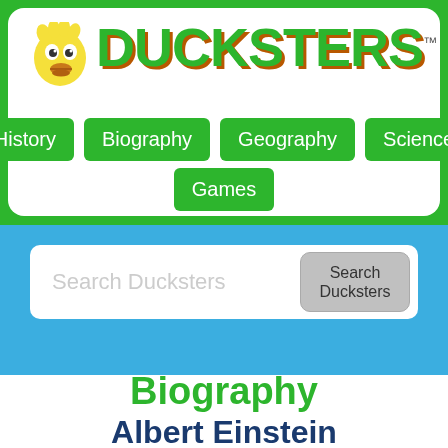[Figure (logo): Ducksters website header with duck mascot and DUCKSTERS logo in green with orange shadow, followed by navigation buttons for History, Biography, Geography, Science, and Games]
[Figure (screenshot): Search bar with placeholder text 'Search Ducksters' and a 'Search Ducksters' button, on a blue background]
Biography
Albert Einstein